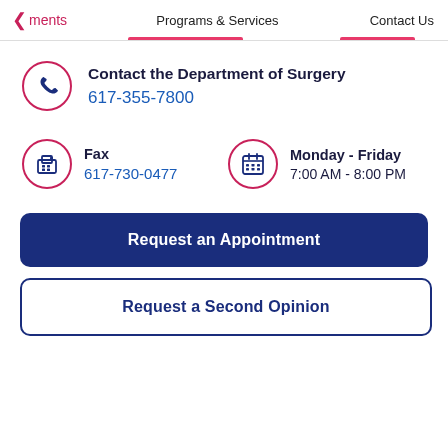eatments | Programs & Services | Contact Us
Contact the Department of Surgery
617-355-7800
Fax
617-730-0477
Monday - Friday
7:00 AM - 8:00 PM
Request an Appointment
Request a Second Opinion